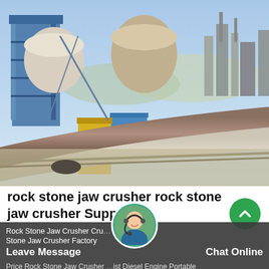[Figure (photo): Aerial/elevated view of an industrial facility with large rotary kilns or pipe conveyors in the foreground, industrial buildings with blue steel structures, silos, and smokestacks in the background under a clear sky.]
rock stone jaw crusher rock stone jaw crusher Suppliers
Rock Stone Jaw Crusher Cru... Stone Jaw Crusher Factory Price Rock Stone Jaw Crusher ...ist Diesel Engine Portable